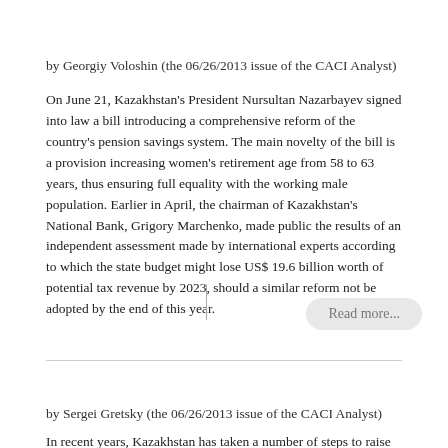by Georgiy Voloshin (the 06/26/2013 issue of the CACI Analyst)
On June 21, Kazakhstan's President Nursultan Nazarbayev signed into law a bill introducing a comprehensive reform of the country's pension savings system. The main novelty of the bill is a provision increasing women's retirement age from 58 to 63 years, thus ensuring full equality with the working male population. Earlier in April, the chairman of Kazakhstan's National Bank, Grigory Marchenko, made public the results of an independent assessment made by international experts according to which the state budget might lose US$ 19.6 billion worth of potential tax revenue by 2023, should a similar reform not be adopted by the end of this year.
Read more...
by Sergei Gretsky (the 06/26/2013 issue of the CACI Analyst)
In recent years, Kazakhstan has taken a number of steps to raise its